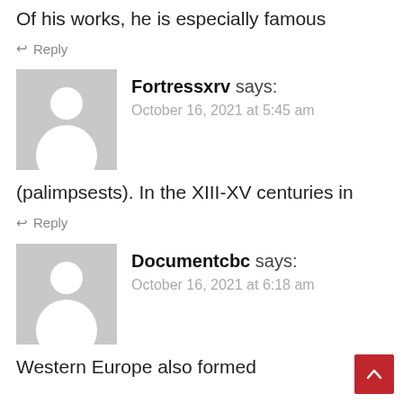Of his works, he is especially famous
↩ Reply
Fortressxrv says: October 16, 2021 at 5:45 am
[Figure (illustration): Generic user avatar placeholder - grey square with white silhouette of a person]
(palimpsests). In the XIII-XV centuries in
↩ Reply
Documentcbc says: October 16, 2021 at 6:18 am
[Figure (illustration): Generic user avatar placeholder - grey square with white silhouette of a person]
Western Europe also formed